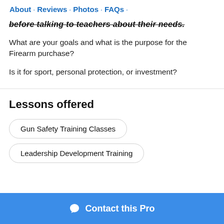About · Reviews · Photos · FAQs ·
before talking to teachers about their needs.
What are your goals and what is the purpose for the Firearm purchase?
Is it for sport, personal protection, or investment?
Lessons offered
Gun Safety Training Classes
Leadership Development Training